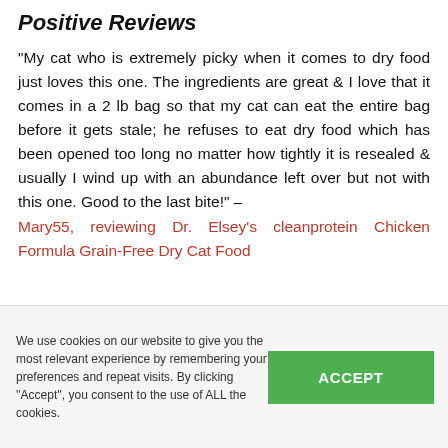Positive Reviews
“My cat who is extremely picky when it comes to dry food just loves this one. The ingredients are great & I love that it comes in a 2 lb bag so that my cat can eat the entire bag before it gets stale; he refuses to eat dry food which has been opened too long no matter how tightly it is resealed & usually I wind up with an abundance left over but not with this one. Good to the last bite!” – Mary55, reviewing Dr. Elsey’s cleanprotein Chicken Formula Grain-Free Dry Cat Food
We use cookies on our website to give you the most relevant experience by remembering your preferences and repeat visits. By clicking ‘‘Accept’’, you consent to the use of ALL the cookies.